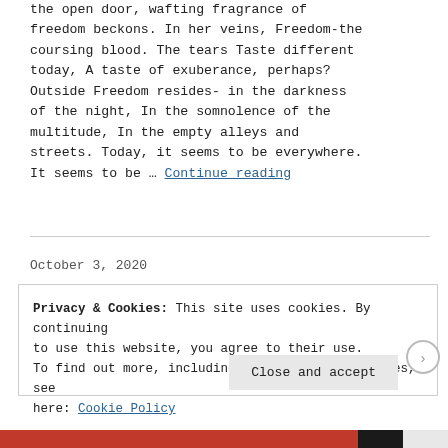the open door, wafting fragrance of freedom beckons. In her veins, Freedom-the coursing blood. The tears Taste different today, A taste of exuberance, perhaps? Outside Freedom resides- in the darkness of the night, In the somnolence of the multitude, In the empty alleys and streets. Today, it seems to be everywhere. It seems to be … Continue reading
October 3, 2020
Privacy & Cookies: This site uses cookies. By continuing to use this website, you agree to their use. To find out more, including how to control cookies, see here: Cookie Policy
Close and accept